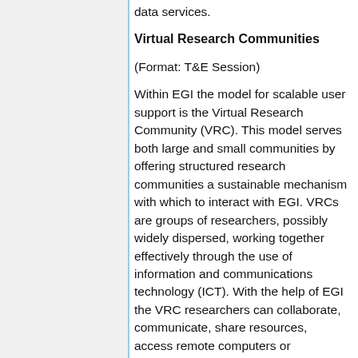data services.
Virtual Research Communities
(Format: T&E Session)
Within EGI the model for scalable user support is the Virtual Research Community (VRC). This model serves both large and small communities by offering structured research communities a sustainable mechanism with which to interact with EGI. VRCs are groups of researchers, possibly widely dispersed, working together effectively through the use of information and communications technology (ICT). With the help of EGI the VRC researchers can collaborate, communicate, share resources, access remote computers or equipment and produce results as effectively as if they, and the resources they require, were